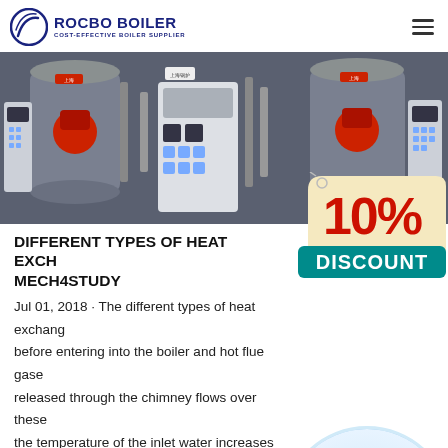ROCBO BOILER — COST-EFFECTIVE BOILER SUPPLIER
[Figure (photo): Industrial boiler room with two large cylindrical boilers, red burners, control panels, and piping.]
DIFFERENT TYPES OF HEAT EXCH... mech4study
[Figure (infographic): 10% DISCOUNT badge in red and teal/beige colors.]
Jul 01, 2018 · The different types of heat exchanger before entering into the boiler and hot flue gase released through the chimney flows over these the temperature of the inlet water increases slig
[Figure (photo): Customer service representative woman wearing headset, smiling, with a colleague behind her.]
Get Price